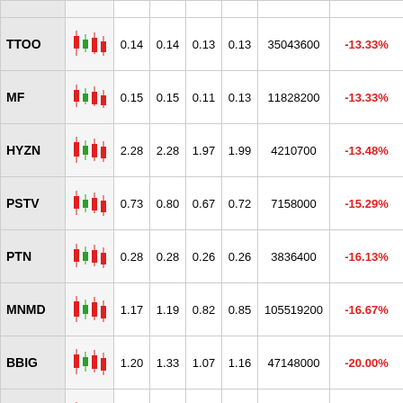| Ticker | Chart | Open | High | Low | Close | Volume | Change% |
| --- | --- | --- | --- | --- | --- | --- | --- |
| TTOO |  | 0.14 | 0.14 | 0.13 | 0.13 | 35043600 | -13.33% |
| MF |  | 0.15 | 0.15 | 0.11 | 0.13 | 11828200 | -13.33% |
| HYZN |  | 2.28 | 2.28 | 1.97 | 1.99 | 4210700 | -13.48% |
| PSTV |  | 0.73 | 0.80 | 0.67 | 0.72 | 7158000 | -15.29% |
| PTN |  | 0.28 | 0.28 | 0.26 | 0.26 | 3836400 | -16.13% |
| MNMD |  | 1.17 | 1.19 | 0.82 | 0.85 | 105519200 | -16.67% |
| BBIG |  | 1.20 | 1.33 | 1.07 | 1.16 | 47148000 | -20.00% |
| RKLY |  | 1.83 | 1.83 | 1.35 | 1.41 | 2566800 | -22.95% |